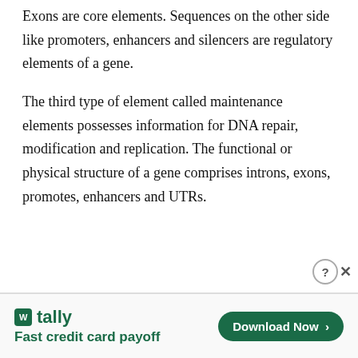Exons are core elements. Sequences on the other side like promoters, enhancers and silencers are regulatory elements of a gene.
The third type of element called maintenance elements possesses information for DNA repair, modification and replication. The functional or physical structure of a gene comprises introns, exons, promotes, enhancers and UTRs.
Related article: Introduction to Exon and intron.
[Figure (screenshot): Advertisement banner for Tally app - Fast credit card payoff with Download Now button]